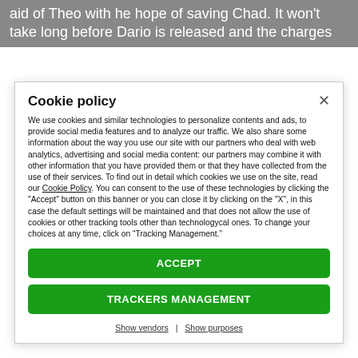aid of Theo with he hope of saving Chad. It won't take long before Dario is released and the charges
Cookie policy
We use cookies and similar technologies to personalize contents and ads, to provide social media features and to analyze our traffic. We also share some information about the way you use our site with our partners who deal with web analytics, advertising and social media content: our partners may combine it with other information that you have provided them or that they have collected from the use of their services. To find out in detail which cookies we use on the site, read our Cookie Policy. You can consent to the use of these technologies by clicking the "Accept" button on this banner or you can close it by clicking on the "X", in this case the default settings will be maintained and that does not allow the use of cookies or other tracking tools other than technologycal ones. To change your choices at any time, click on “Tracking Management.”
ACCEPT
TRACKERS MANAGEMENT
Show vendors | Show purposes